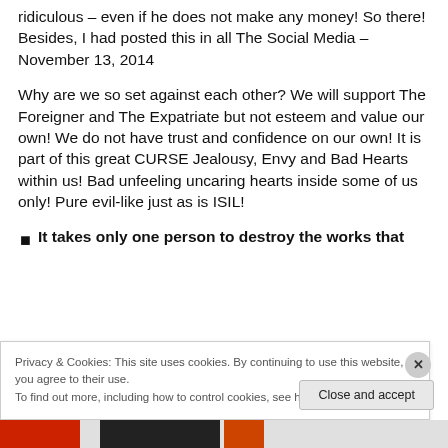ridiculous – even if he does not make any money! So there! Besides, I had posted this in all The Social Media – November 13, 2014
Why are we so set against each other? We will support The Foreigner and The Expatriate but not esteem and value our own! We do not have trust and confidence on our own! It is part of this great CURSE Jealousy, Envy and Bad Hearts within us! Bad unfeeling uncaring hearts inside some of us only! Pure evil-like just as is ISIL!
It takes only one person to destroy the works that
Privacy & Cookies: This site uses cookies. By continuing to use this website, you agree to their use.
To find out more, including how to control cookies, see here: Cookie Policy
Close and accept